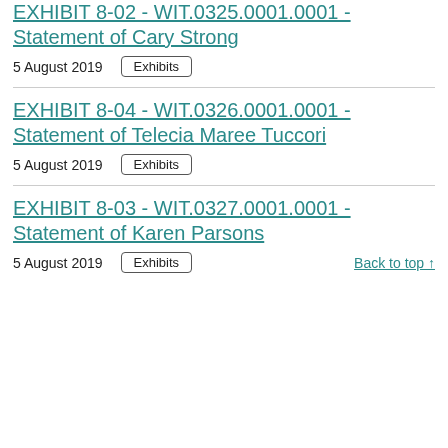EXHIBIT 8-02 - WIT.0325.0001.0001 - Statement of Cary Strong
5 August 2019   Exhibits
EXHIBIT 8-04 - WIT.0326.0001.0001 - Statement of Telecia Maree Tuccori
5 August 2019   Exhibits
EXHIBIT 8-03 - WIT.0327.0001.0001 - Statement of Karen Parsons
5 August 2019   Exhibits   Back to top ↑